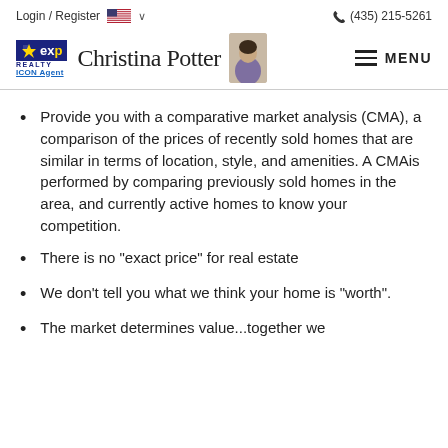Login / Register   🇺🇸 ∨   (435) 215-5261
[Figure (logo): eXp Realty ICON Agent logo with Christina Potter branding and agent photo, plus MENU hamburger button]
Provide you with a comparative market analysis (CMA), a comparison of the prices of recently sold homes that are similar in terms of location, style, and amenities. A CMAis performed by comparing previously sold homes in the area, and currently active homes to know your competition.
There is no "exact price" for real estate
We don't tell you what we think your home is "worth".
The market determines value...together we